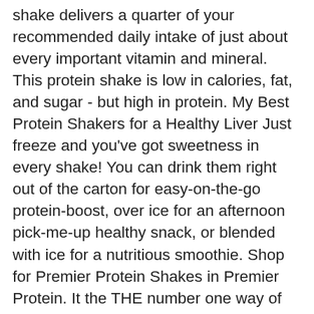shake delivers a quarter of your recommended daily intake of just about every important vitamin and mineral. This protein shake is low in calories, fat, and sugar - but high in protein. My Best Protein Shakers for a Healthy Liver Just freeze and you've got sweetness in every shake! You can drink them right out of the carton for easy-on-the-go protein-boost, over ice for an afternoon pick-me-up healthy snack, or blended with ice for a nutritious smoothie. Shop for Premier Protein Shakes in Premier Protein. It the THE number one way of getting protein when you're sick. 24 Vitamins & Minerals Life requires protein, but we know it s hard to get lean protein. 30g Protein. Keep in mind that not all protein shakes are equal, so always review specific health and nutritional information for a shake before you drink it. The shakes are low in fat, have only 160 calories & 1g of sugar, and pack in 24 vitamins & minerals. If you are a serious athlete, this gives Premier a big step up, as each shake will inundate your